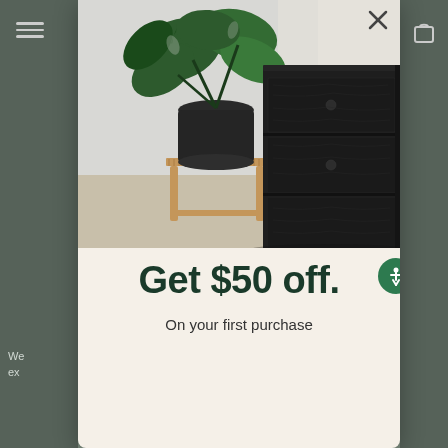[Figure (photo): Product photo showing a dark wood dresser with knob handles and a monstera plant in a black pot on a wooden plant stand, light airy room background]
Get $50 off.
On your first purchase